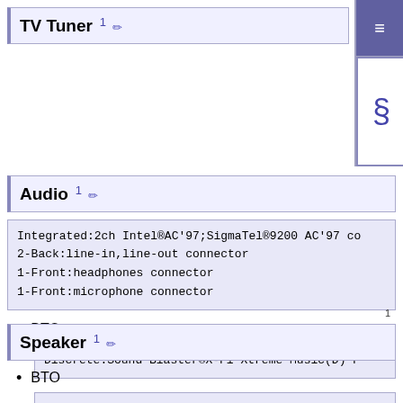TV Tuner
Audio
Integrated:2ch Intel®AC'97;SigmaTel®9200 AC'97 co
2-Back:line-in,line-out connector
1-Front:headphones connector
1-Front:microphone connector
BTO
Discrete:Sound Blaster®X-Fi Xtreme Music(D) P
1
Speaker
BTO
Chassis Speaker(Option)